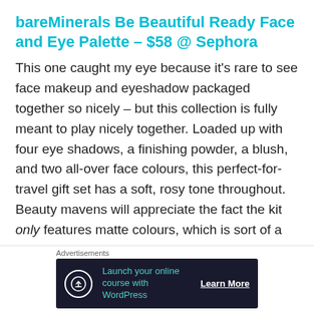bareMinerals Be Beautiful Ready Face and Eye Palette – $58 @ Sephora
This one caught my eye because it's rare to see face makeup and eyeshadow packaged together so nicely – but this collection is fully meant to play nicely together. Loaded up with four eye shadows, a finishing powder, a blush, and two all-over face colours, this perfect-for-travel gift set has a soft, rosy tone throughout. Beauty mavens will appreciate the fact the kit only features matte colours, which is sort of a must-have when you're going for that natural, fresh-faced appearance. Plus, the all-over face colours are perfect for contouring and highlighting to bring
[Figure (other): Advertisement banner: dark navy background with a white circle icon (upload/cloud symbol), cyan text 'Launch your online course with WordPress', and a white 'Learn More' button link. Labeled 'Advertisements' above.]